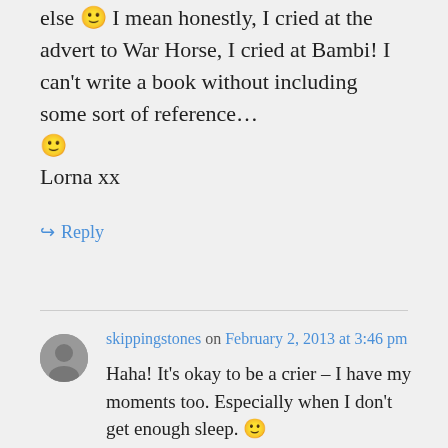else 🙂 I mean honestly, I cried at the advert to War Horse, I cried at Bambi! I can't write a book without including some sort of reference… 🙂 Lorna xx
↪ Reply
skippingstones on February 2, 2013 at 3:46 pm
Haha! It's okay to be a crier – I have my moments too. Especially when I don't get enough sleep. 🙂